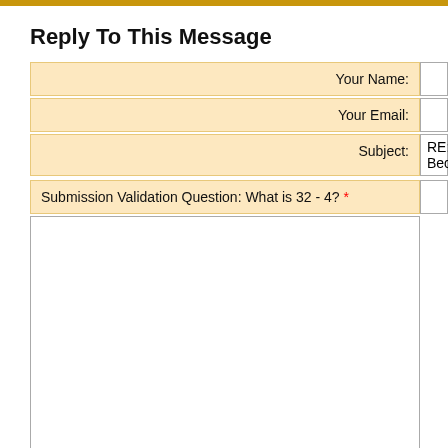Reply To This Message
Your Name:
Your Email:
Subject: RE: Becoming
Submission Validation Question: What is 32 - 4? *